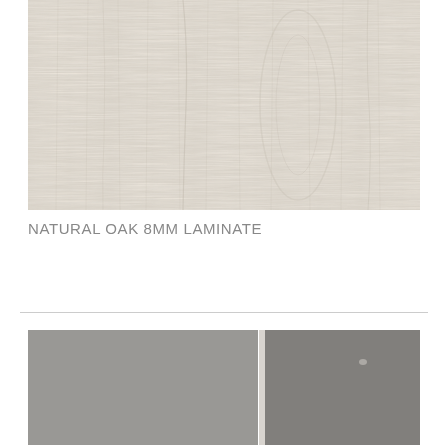[Figure (photo): Natural oak wood grain texture photo — light grey-beige wood with vertical grain lines]
NATURAL OAK 8MM LAMINATE
[Figure (photo): Light cream/white stone or tile texture photo showing two tile panels side by side with a vertical grout line]